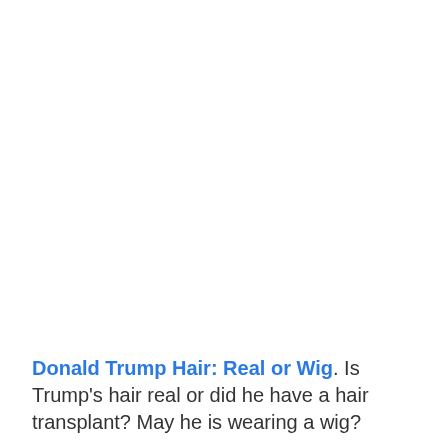Donald Trump Hair: Real or Wig. Is Trump's hair real or did he have a hair transplant? May he is wearing a wig?